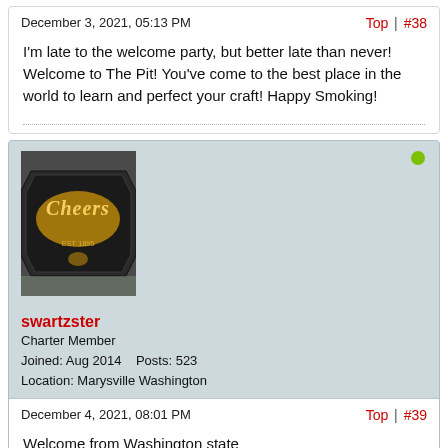December 3, 2021, 05:13 PM
Top | #38
I'm late to the welcome party, but better late than never! Welcome to The Pit! You've come to the best place in the world to learn and perfect your craft! Happy Smoking!
[Figure (photo): Avatar image showing a Cheers bar sign with gold lettering, EST. 1895]
swartzster
Charter Member
Joined: Aug 2014    Posts: 523
Location: Marysville Washington
December 4, 2021, 08:01 PM
Top | #39
Welcome from Washington state